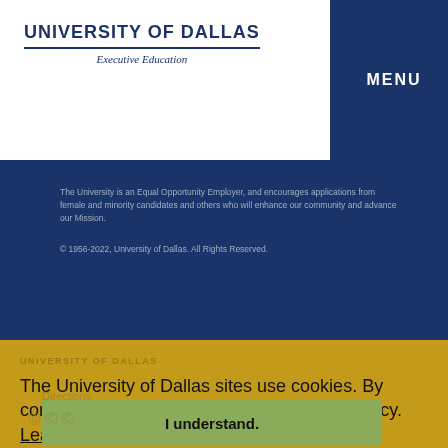UNIVERSITY OF DALLAS Executive Education
MENU
The University is an Equal Opportunity Employer, and encourages applications from female and minority candidates and others who will enhance our community and advance our Mission.
© 1956-2022, University of Dallas. All Rights Reserved.
UNIVERSITY OF DALLAS
The University of Dallas sites use cookies. By continuing to use this site you accept this policy. Learn More
Directions
I understand.